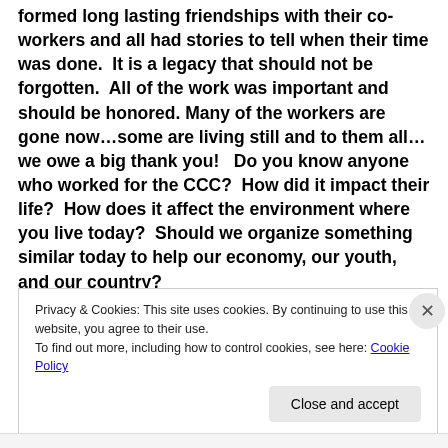formed long lasting friendships with their co-workers and all had stories to tell when their time was done.  It is a legacy that should not be forgotten.  All of the work was important and should be honored. Many of the workers are gone now…some are living still and to them all…we owe a big thank you!   Do you know anyone who worked for the CCC?  How did it impact their life?  How does it affect the environment where you live today?  Should we organize something similar today to help our economy, our youth, and our country?
Privacy & Cookies: This site uses cookies. By continuing to use this website, you agree to their use.
To find out more, including how to control cookies, see here: Cookie Policy
Close and accept